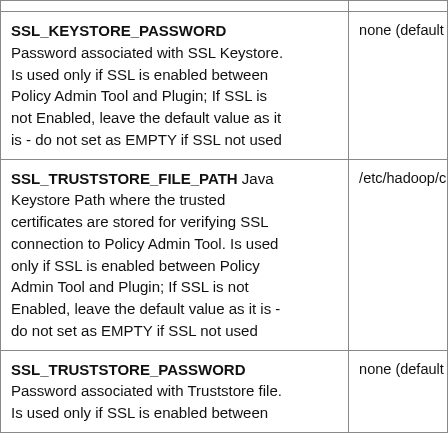| Property | Default |
| --- | --- |
| SSL_KEYSTORE_PASSWORD
Password associated with SSL Keystore. Is used only if SSL is enabled between Policy Admin Tool and Plugin; If SSL is not Enabled, leave the default value as it is - do not set as EMPTY if SSL not used | none (default) |
| SSL_TRUSTSTORE_FILE_PATH Java Keystore Path where the trusted certificates are stored for verifying SSL connection to Policy Admin Tool. Is used only if SSL is enabled between Policy Admin Tool and Plugin; If SSL is not Enabled, leave the default value as it is - do not set as EMPTY if SSL not used | /etc/hadoop/c… |
| SSL_TRUSTSTORE_PASSWORD
Password associated with Truststore file. Is used only if SSL is enabled between | none (default) |